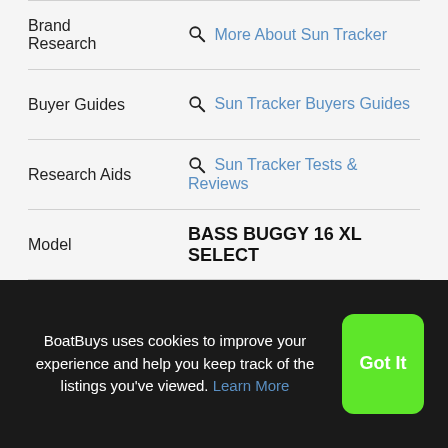| Field | Value |
| --- | --- |
| Brand Research | More About Sun Tracker |
| Buyer Guides | Sun Tracker Buyers Guides |
| Research Aids | Sun Tracker Tests & Reviews |
| Model | BASS BUGGY 16 XL SELECT |
| Located | Fort Myers, Florida, US |
| Length | 1842ft / 561.44 m |
| Beam | 8ft / 2.44 m |
| Engines | 1 |
| Engine Make | Mercury Marine |
BoatBuys uses cookies to improve your experience and help you keep track of the listings you've viewed. Learn More